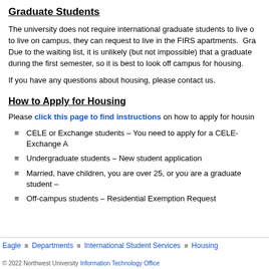Graduate Students
The university does not require international graduate students to live on campus, they can request to live in the FIRS apartments. Graduate students... Due to the waiting list, it is unlikely (but not impossible) that a graduate student will be housed during the first semester, so it is best to look off campus for housing.
If you have any questions about housing, please contact us.
How to Apply for Housing
Please click this page to find instructions on how to apply for housing.
≡ CELE or Exchange students – You need to apply for a CELE-Exchange A…
≡ Undergraduate students – New student application
≡ Married, have children, you are over 25, or you are a graduate student –
≡ Off-campus students – Residential Exemption Request
Eagle ≡ Departments ≡ International Student Services ≡ Housing | © 2022 Northwest University Information Technology Office